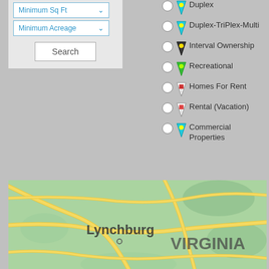Minimum Sq Ft (dropdown)
Minimum Acreage (dropdown)
Search (button)
Duplex
Duplex-TriPlex-Multi
Interval Ownership
Recreational
Homes For Rent
Rental (Vacation)
Commercial Properties
[Figure (map): Map showing Lynchburg, Virginia area with road network on green terrain background]